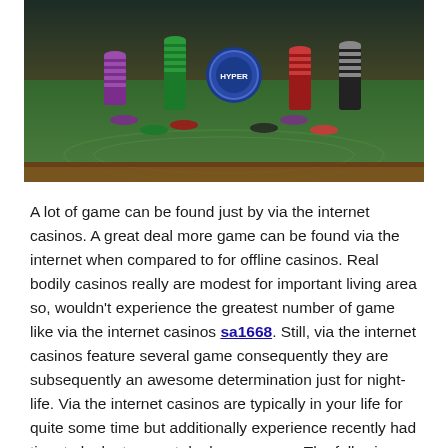[Figure (photo): Photo of casino poker chips stacked on a green blackjack/poker table, with colorful chips in red, green, purple, black and white arranged in the background.]
A lot of game can be found just by via the internet casinos. A great deal more game can be found via the internet when compared to for offline casinos. Real bodily casinos really are modest for important living area so, wouldn't experience the greatest number of game like via the internet casinos sa1668. Still, via the internet casinos feature several game consequently they are subsequently an awesome determination just for night-life. Via the internet casinos are typically in your life for quite some time but additionally experience recently had time to look at a great deal more game. The following are a portion of the potential